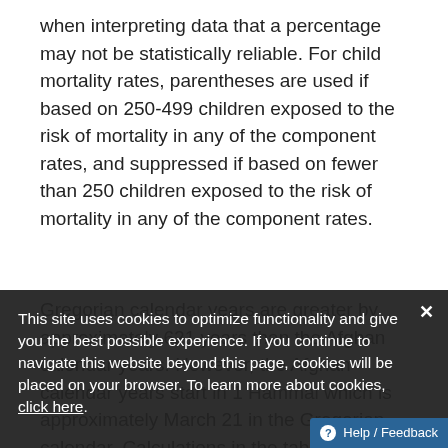when interpreting data that a percentage may not be statistically reliable. For child mortality rates, parentheses are used if based on 250-499 children exposed to the risk of mortality in any of the component rates, and suppressed if based on fewer than 250 children exposed to the risk of mortality in any of the component rates.
Gregorian calendar years are greater by approximately 621 years than the Afghan calendar years. However, the Afghan calendar years start in 1 Hammal which is approximately March 21 in the Gregorian calendar. Calculations in the tables are based on the Afghan calendar but in the report calendar years are presented in the Gregorian calendar with approximate reference...
This site uses cookies to optimize functionality and give you the best possible experience. If you continue to navigate this website beyond this page, cookies will be placed on your browser. To learn more about cookies, click here.